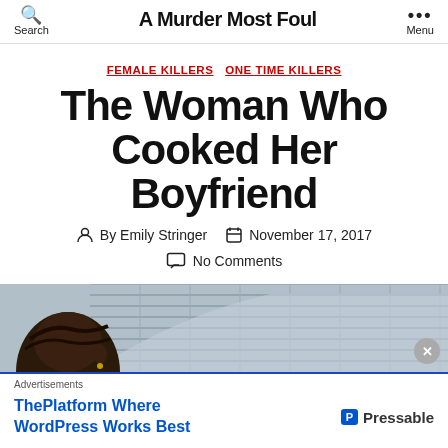A Murder Most Foul
FEMALE KILLERS  ONE TIME KILLERS
The Woman Who Cooked Her Boyfriend
By Emily Stringer   November 17, 2017
No Comments
[Figure (photo): Top of a woman's head with dark hair against a building backdrop]
Advertisements
ThePlatform Where WordPress Works Best   Pressable